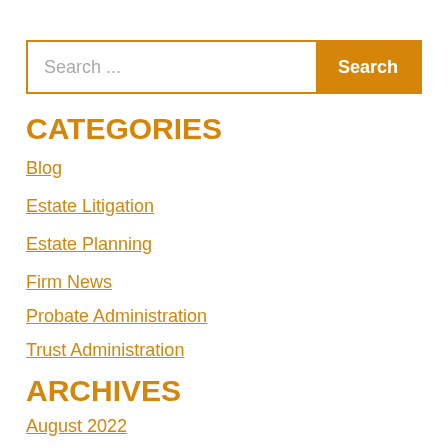Search ...
CATEGORIES
Blog
Estate Litigation
Estate Planning
Firm News
Probate Administration
Trust Administration
ARCHIVES
August 2022
May 2022
April 2022